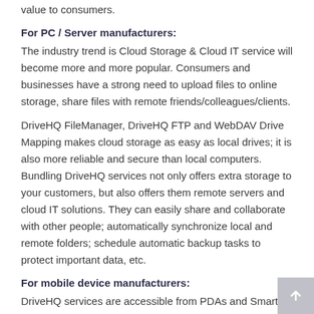value to consumers.
For PC / Server manufacturers:
The industry trend is Cloud Storage & Cloud IT service will become more and more popular. Consumers and businesses have a strong need to upload files to online storage, share files with remote friends/colleagues/clients.
DriveHQ FileManager, DriveHQ FTP and WebDAV Drive Mapping makes cloud storage as easy as local drives; it is also more reliable and secure than local computers. Bundling DriveHQ services not only offers extra storage to your customers, but also offers them remote servers and cloud IT solutions. They can easily share and collaborate with other people; automatically synchronize local and remote folders; schedule automatic backup tasks to protect important data, etc.
For mobile device manufacturers:
DriveHQ services are accessible from PDAs and Smart Phones. Our web based service can be easily accessed from any web-enabled mobile devices. We also have a mobile website at: m.drivehq.com, which is optimized for phones with small display.